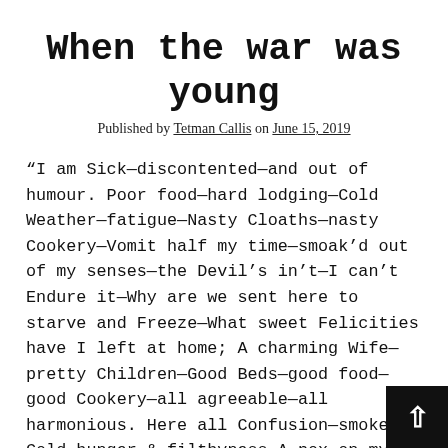When the war was young
Published by Tetman Callis on June 15, 2019
“I am Sick—discontented—and out of humour. Poor food—hard lodging—Cold Weather—fatigue—Nasty Cloaths—nasty Cookery—Vomit half my time—smoak’d out of my senses—the Devil’s in’t—I can’t Endure it—Why are we sent here to starve and Freeze—What sweet Felicities have I left at home; A charming Wife—pretty Children—Good Beds—good food—good Cookery—all agreeable—all harmonious. Here all Confusion—smoke & Cold—hunger & filthyness—A pox on my bad luck. There comes a bowl of beef soup—full of burnt leaves and dirt, sickish enough to make a